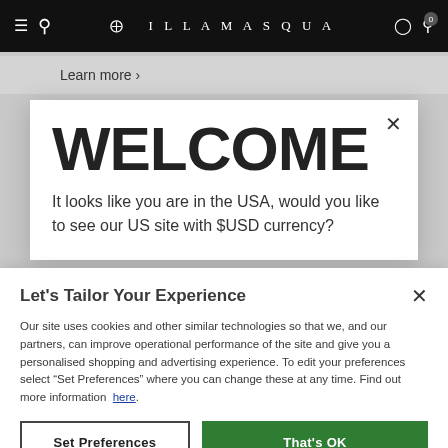ILLAMASQUA
Learn more >
WELCOME
It looks like you are in the USA, would you like to see our US site with $USD currency?
Let's Tailor Your Experience
Our site uses cookies and other similar technologies so that we, and our partners, can improve operational performance of the site and give you a personalised shopping and advertising experience. To edit your preferences select “Set Preferences” where you can change these at any time. Find out more information here.
Set Preferences
That's OK